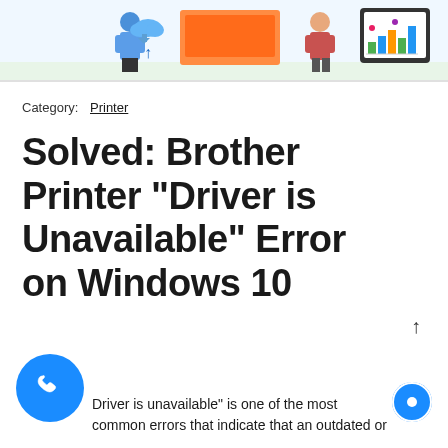[Figure (illustration): Colorful illustration showing people working with technology, computers, and a tablet with bar charts, partially cropped at top]
Category: Printer
Solved: Brother Printer “Driver is Unavailable” Error on Windows 10
“Driver is unavailable” is one of the most common errors that indicate that an outdated or